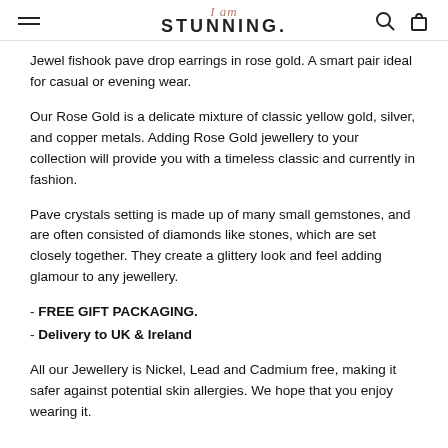I am STUNNING.
Jewel fishook pave drop earrings in rose gold. A smart pair ideal for casual or evening wear.
Our Rose Gold is a delicate mixture of classic yellow gold, silver, and copper metals. Adding Rose Gold jewellery to your collection will provide you with a timeless classic and currently in fashion.
Pave crystals setting is made up of many small gemstones, and are often consisted of diamonds like stones, which are set closely together. They create a glittery look and feel adding glamour to any jewellery.
- FREE GIFT PACKAGING.
- Delivery to UK & Ireland
All our Jewellery is Nickel, Lead and Cadmium free, making it safer against potential skin allergies. We hope that you enjoy wearing it.